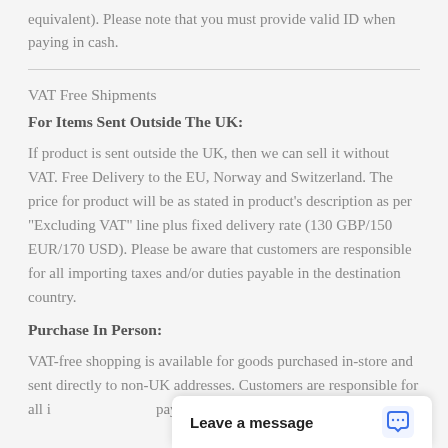equivalent). Please note that you must provide valid ID when paying in cash.
VAT Free Shipments
For Items Sent Outside The UK:
If product is sent outside the UK, then we can sell it without VAT. Free Delivery to the EU, Norway and Switzerland. The price for product will be as stated in product’s description as per “Excluding VAT” line plus fixed delivery rate (130 GBP/150 EUR/170 USD). Please be aware that customers are responsible for all importing taxes and/or duties payable in the destination country.
Purchase In Person:
VAT-free shopping is available for goods purchased in-store and sent directly to non-UK addresses. Customers are responsible for all importing taxes and/or duties payable in the destination country.